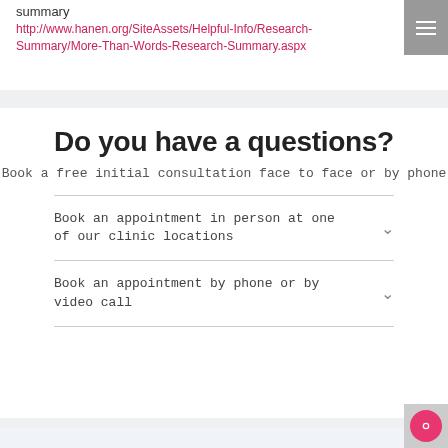summary
http://www.hanen.org/SiteAssets/Helpful-Info/Research-Summary/More-Than-Words-Research-Summary.aspx
Do you have a questions?
Book a free initial consultation face to face or by phone
Book an appointment in person at one of our clinic locations
Book an appointment by phone or by video call